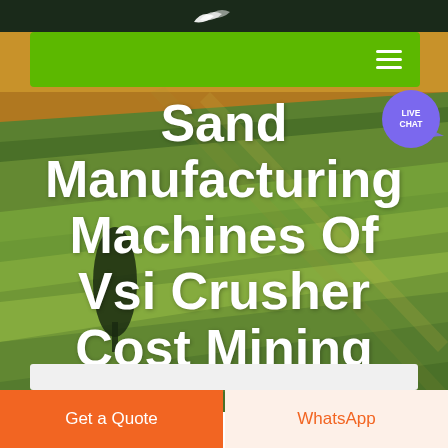[Figure (screenshot): Green navigation bar with hamburger menu icon on the right side]
[Figure (photo): Aerial photograph of agricultural fields with green and golden crop rows, used as hero background image]
Sand Manufacturing Machines Of Vsi Crusher Cost Mining
[Figure (illustration): Live Chat speech bubble icon in purple/slate color with text LIVE CHAT]
Get a Quote
WhatsApp